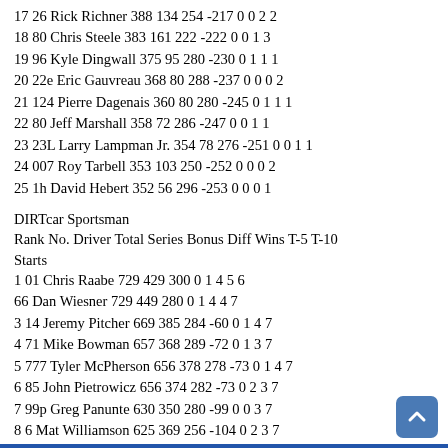17 26 Rick Richner 388 134 254 -217 0 0 2 2
18 80 Chris Steele 383 161 222 -222 0 0 1 3
19 96 Kyle Dingwall 375 95 280 -230 0 1 1 1
20 22e Eric Gauvreau 368 80 288 -237 0 0 0 2
21 124 Pierre Dagenais 360 80 280 -245 0 1 1 1
22 80 Jeff Marshall 358 72 286 -247 0 0 1 1
23 23L Larry Lampman Jr. 354 78 276 -251 0 0 1 1
24 007 Roy Tarbell 353 103 250 -252 0 0 0 2
25 1h David Hebert 352 56 296 -253 0 0 0 1
DIRTcar Sportsman
Rank No. Driver Total Series Bonus Diff Wins T-5 T-10 Starts
1 01 Chris Raabe 729 429 300 0 1 4 5 6
66 Dan Wiesner 729 449 280 0 1 4 4 7
3 14 Jeremy Pitcher 669 385 284 -60 0 1 4 7
4 71 Mike Bowman 657 368 289 -72 0 1 3 7
5 777 Tyler McPherson 656 378 278 -73 0 1 4 7
6 85 John Pietrowicz 656 374 282 -73 0 2 3 7
7 99p Greg Panunte 630 350 280 -99 0 0 3 7
8 6 Mat Williamson 625 369 256 -104 0 2 3 7